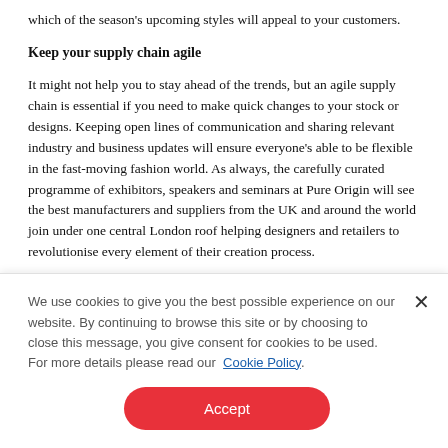which of the season's upcoming styles will appeal to your customers.
Keep your supply chain agile
It might not help you to stay ahead of the trends, but an agile supply chain is essential if you need to make quick changes to your stock or designs. Keeping open lines of communication and sharing relevant industry and business updates will ensure everyone's able to be flexible in the fast-moving fashion world. As always, the carefully curated programme of exhibitors, speakers and seminars at Pure Origin will see the best manufacturers and suppliers from the UK and around the world join under one central London roof helping designers and retailers to revolutionise every element of their creation process.
Get all the latest insights, view designers' AW19/20 catwalk collections
We use cookies to give you the best possible experience on our website. By continuing to browse this site or by choosing to close this message, you give consent for cookies to be used. For more details please read our Cookie Policy.
Accept